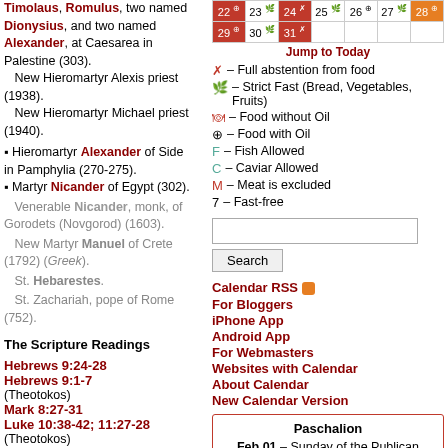Timolaus, Romulus, two named Dionysius, and two named Alexander, at Caesarea in Palestine (303). New Hieromartyr Alexis priest (1938). New Hieromartyr Michael priest (1940).
Hieromartyr Alexander of Side in Pamphylia (270-275).
Martyr Nicander of Egypt (302).
Venerable Nicander, monk, of Gorodets (Novgorod) (1603).
New Martyr Manuel of Crete (1792) (Greek).
St. Hebarestes.
St. Zachariah, pope of Rome (752).
The Scripture Readings
Hebrews 9:24-28
Hebrews 9:1-7
(Theotokos)
Mark 8:27-31
Luke 10:38-42; 11:27-28
(Theotokos)
| 22 | 23 | 24 | 25 | 26 | 27 | 28 |
| --- | --- | --- | --- | --- | --- | --- |
| 29 | 30 | 31 |  |  |  |  |
Jump to Today
✗ – Full abstention from food
🌿 – Strict Fast (Bread, Vegetables, Fruits)
🍽 – Food without Oil
⊕ – Food with Oil
F – Fish Allowed
C – Caviar Allowed
M – Meat is excluded
7 – Fast-free
Calendar RSS  For Bloggers  iPhone App  Android App  For Webmasters  Websites with Calendar  About Calendar  New Calendar Version
Paschalion
Feb 01 – Sunday of the Publican and Pharisee